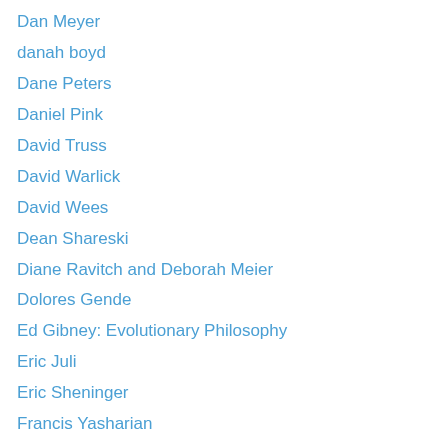Dan Meyer
danah boyd
Dane Peters
Daniel Pink
David Truss
David Warlick
David Wees
Dean Shareski
Diane Ravitch and Deborah Meier
Dolores Gende
Ed Gibney: Evolutionary Philosophy
Eric Juli
Eric Sheninger
Francis Yasharian
Frank Nochese
George Couros
Grant Lichtman
Grant Wiggins
Heather Wolpert-Gawron
Ira Socol